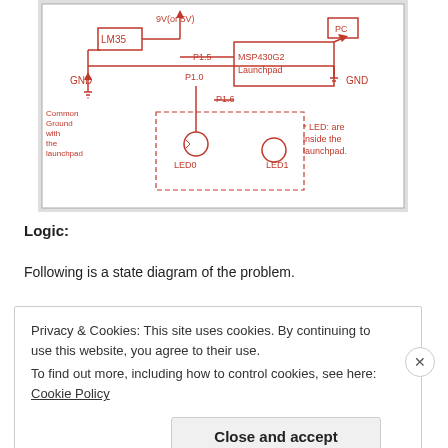[Figure (schematic): Hand-drawn circuit schematic showing LM35 temperature sensor connected to MSP430G2 Launchpad with LEDs (LED0 and LED1), GND connections, PC connection, and pin labels P1.5, P1.0, P1.6. Notes indicate common ground with the launchpad, 9V (or 5V) power supply, and LEDs are inside the launchpad.]
Logic:
Following is a state diagram of the problem.
Privacy & Cookies: This site uses cookies. By continuing to use this website, you agree to their use.
To find out more, including how to control cookies, see here: Cookie Policy
Close and accept